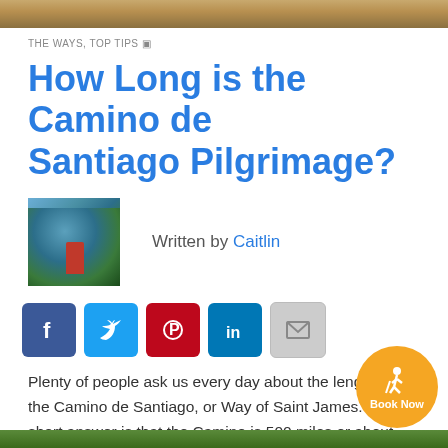[Figure (photo): Top banner image showing outdoor landscape, brownish tones]
THE WAYS, TOP TIPS 🔖
How Long is the Camino de Santiago Pilgrimage?
[Figure (photo): Author photo of person on rocky overlook with lake/forest below]
Written by Caitlin
[Figure (infographic): Social media sharing buttons: Facebook, Twitter, Pinterest, LinkedIn, Email]
Plenty of people ask us every day about the length of the Camino de Santiago, or Way of Saint James. The short answer is that the Camino is 500 miles or about 800 kilometres long.
[Figure (illustration): Book Now button with hiker icon, orange circular badge]